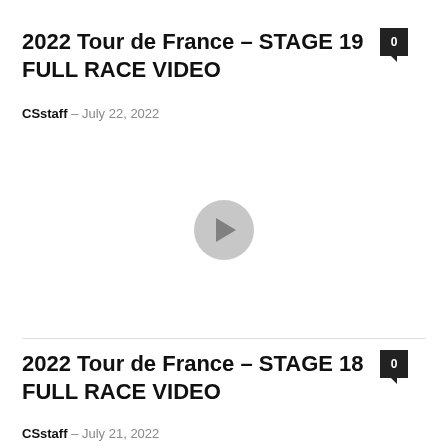2022 Tour de France – STAGE 19 FULL RACE VIDEO
CSstaff – July 22, 2022
[Figure (screenshot): Video thumbnail placeholder with play button for 2022 Tour de France Stage 19 full race video]
2022 Tour de France – STAGE 18 FULL RACE VIDEO
CSstaff – July 21, 2022